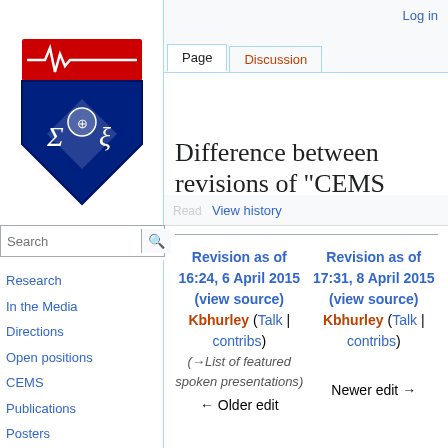Log in
[Figure (logo): University of Pennsylvania CEMS wiki logo — shield with red top bar containing a heartbeat/EEG line, blue shield body with Sigma and Xi symbols]
Page | Discussion | View history
Difference between revisions of "CEMS 2015"
Revision as of 16:24, 6 April 2015 (view source) Kbhurley (Talk | contribs) (→List of featured spoken presentations) ← Older edit
Revision as of 17:31, 8 April 2015 (view source) Kbhurley (Talk | contribs) Newer edit →
Research
In the Media
Directions
Open positions
CEMS
Publications
Posters
People
Restoring Active Memory (RAM)
PEERS
Oxford Handbook of Human Memory
Behavioral data archive
Cognitive...